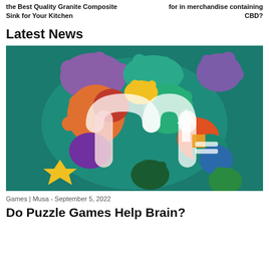the Best Quality Granite Composite Sink for Your Kitchen
for in merchandise containing CBD?
Latest News
[Figure (illustration): Colorful brain made of puzzle pieces with a winding path/arrow symbol on a teal background]
Games | Musa - September 5, 2022
Do Puzzle Games Help Brain?